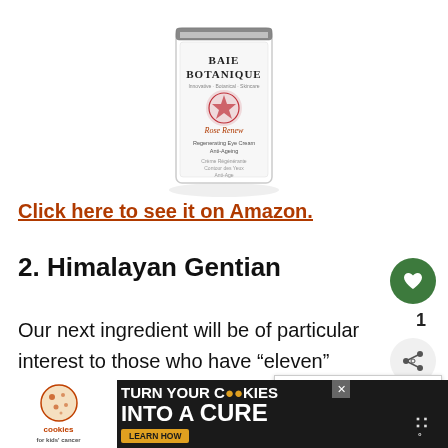[Figure (photo): Baie Botanique Rose Renew Regenerating Eye Cream Anti-Ageing product bottle on white background]
Click here to see it on Amazon.
2. Himalayan Gentian
Our next ingredient will be of particular interest to those who have “eleven” the fine vertical lines that can appear b
[Figure (screenshot): Cookies for Kids Cancer advertisement banner: turn your COOKIES into a CURE LEARN HOW]
[Figure (infographic): What's Next widget showing Best Anti-Aging Skin... with avatar photo]
[Figure (infographic): Like button (heart icon, green circle) with count 1, and share button]